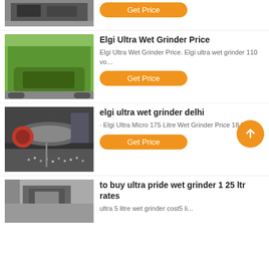[Figure (photo): Partial view of industrial machinery (crusher/shredder) — top of page, cropped]
Get Price
[Figure (photo): Large green industrial machine (baler or compactor) on tracks, outdoors]
Elgi Ultra Wet Grinder Price
Elgi Ultra Wet Grinder Price. Elgi ultra wet grinder 110 vo…
Get Price
[Figure (photo): Industrial wet grinder machinery interior with rotating parts and steel pellets]
elgi ultra wet grinder delhi
· Elgi Ultra Micro 175 Litre Wet Grinder Price 18 Mar...
Get Price
[Figure (photo): Industrial crusher/hammer mill machinery]
to buy ultra pride wet grinder 1 25 ltr rates
ultra 5 litre wet grinder cost5 li...